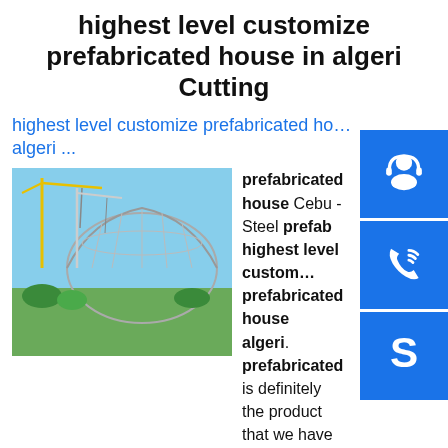highest level customize prefabricated house in algeri Cutting
highest level customize prefabricated ho… algeri ...
[Figure (photo): Construction site with cranes and a large geodesic dome-style steel structure being built]
prefabricated house Cebu - Steel prefab highest level customize prefabricated house algeri. prefabricated is definitely the product that we have continued to emerge inside the Cebu industry and accomplished fantastic reputation. Our products advertising and marketing network at all more than the Cebu regions.sp.info highest level customize prefabricated house in algeria ...highest level customize prefabricated